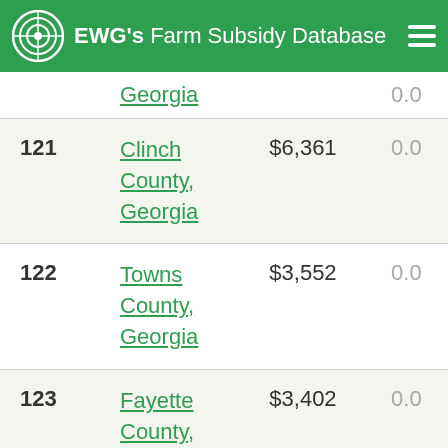EWG's Farm Subsidy Database
| Rank | County | Amount | Pct |
| --- | --- | --- | --- |
|  | Georgia |  | 0.0 |
| 121 | Clinch County, Georgia | $6,361 | 0.0 |
| 122 | Towns County, Georgia | $3,552 | 0.0 |
| 123 | Fayette County, Georgia | $3,402 | 0.0 |
| 124 | Jones County, Georgia | $1,792 | 0.0 |